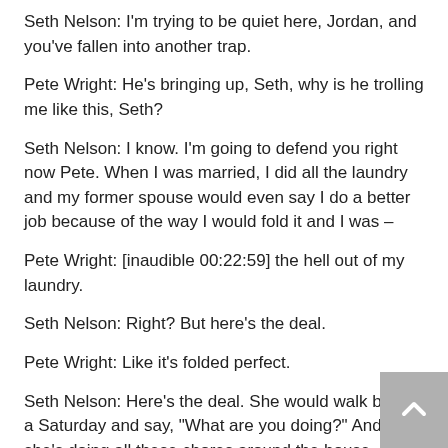Seth Nelson: I'm trying to be quiet here, Jordan, and you've fallen into another trap.
Pete Wright: He's bringing up, Seth, why is he trolling me like this, Seth?
Seth Nelson: I know. I'm going to defend you right now Pete. When I was married, I did all the laundry and my former spouse would even say I do a better job because of the way I would fold it and I was –
Pete Wright: [inaudible 00:22:59] the hell out of my laundry.
Seth Nelson: Right? But here's the deal.
Pete Wright: Like it's folded perfect.
Seth Nelson: Here's the deal. She would walk by on a Saturday and say, "What are you doing?" And she's doing all these chores around the house. I said, "I'm